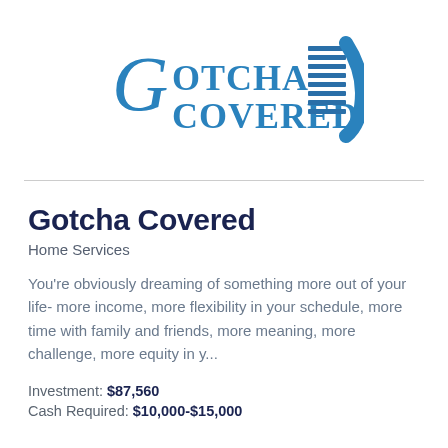[Figure (logo): Gotcha Covered logo — blue script and serif lettering with horizontal blind/stripe graphic element on the right]
Gotcha Covered
Home Services
You're obviously dreaming of something more out of your life- more income, more flexibility in your schedule, more time with family and friends, more meaning, more challenge, more equity in y...
Investment: $87,560
Cash Required: $10,000-$15,000